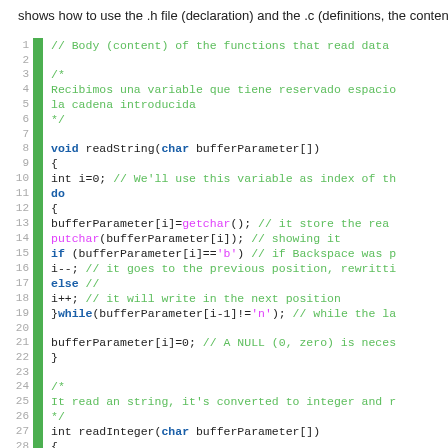shows how to use the .h file (declaration) and the .c (definitions, the content
[Figure (screenshot): Code editor showing C source code with line numbers 1-29, green vertical gutter bar, syntax highlighting. Code shows readString and readInteger functions with comments in green, keywords in blue, function calls in magenta.]